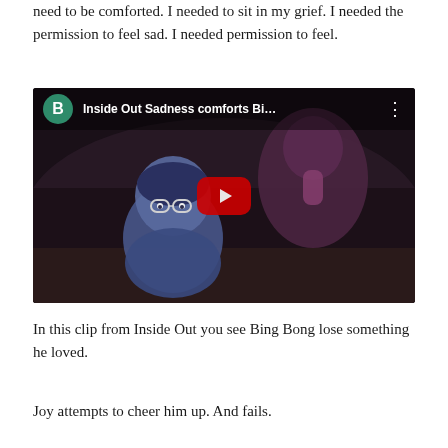need to be comforted. I needed to sit in my grief. I needed the permission to feel sad. I needed permission to feel.
[Figure (screenshot): YouTube video thumbnail showing Inside Out characters Sadness and Bing Bong. Title reads 'Inside Out Sadness comforts Bi...' with a teal B channel icon and red play button.]
In this clip from Inside Out you see Bing Bong lose something he loved.
Joy attempts to cheer him up. And fails.